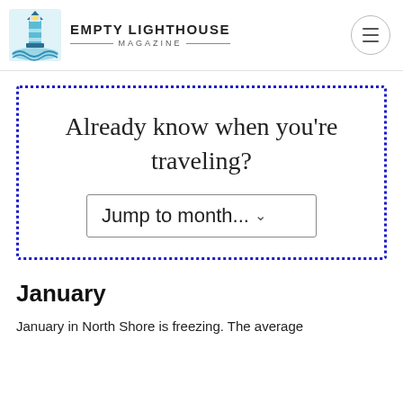EMPTY LIGHTHOUSE MAGAZINE
[Figure (screenshot): Interactive widget with dotted blue border containing text 'Already know when you're traveling?' and a dropdown selector labeled 'Jump to month...']
January
January in North Shore is freezing. The average